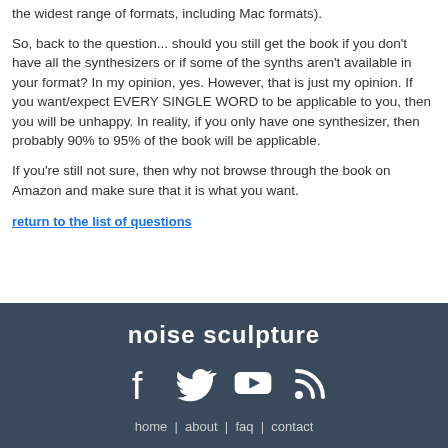the widest range of formats, including Mac formats).
So, back to the question... should you still get the book if you don't have all the synthesizers or if some of the synths aren't available in your format? In my opinion, yes. However, that is just my opinion. If you want/expect EVERY SINGLE WORD to be applicable to you, then you will be unhappy. In reality, if you only have one synthesizer, then probably 90% to 95% of the book will be applicable.
If you're still not sure, then why not browse through the book on Amazon and make sure that it is what you want.
return to the list of questions
noise sculpture | home | about | faq | contact